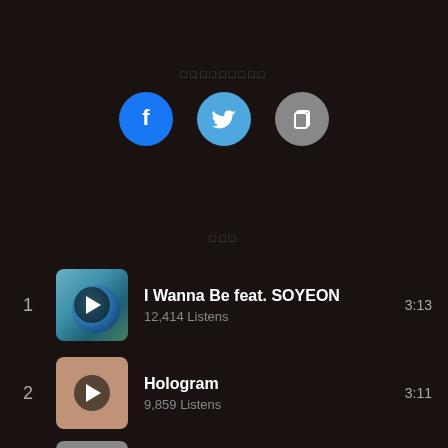□□□□□□□□□
[Figure (other): Share icons: Facebook (blue circle with F), Twitter (light blue circle with bird), Copy/Link (gray circle with copy icon)]
□□□
1  I Wanna Be feat. SOYEON  12,414 Listens  3:13
2  Hologram  9,859 Listens  3:11
3  Hate That... feat. TAEYEON  8,107 Listens  3:05